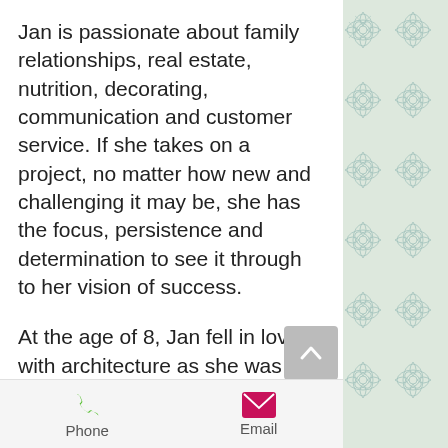Jan is passionate about family relationships, real estate, nutrition, decorating, communication and customer service. If she takes on a project, no matter how new and challenging it may be, she has the focus, persistence and determination to see it through to her vision of success.
At the age of 8, Jan fell in love with architecture as she was visiting her grandparents at their historic 1906 home in Ogden, UT. That led her to drafting classes and then architecture at a college right out of high school.
[Figure (other): Decorative damask wallpaper pattern in blue-green on cream background on right side of page]
[Figure (other): Grey back-to-top button with upward chevron arrow]
Phone  Email